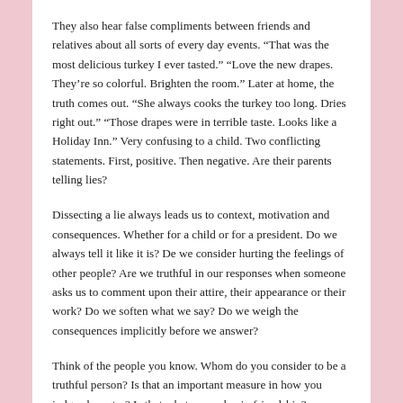They also hear false compliments between friends and relatives about all sorts of every day events. “That was the most delicious turkey I ever tasted.” “Love the new drapes. They’re so colorful. Brighten the room.” Later at home, the truth comes out. “She always cooks the turkey too long. Dries right out.” “Those drapes were in terrible taste. Looks like a Holiday Inn.” Very confusing to a child. Two conflicting statements. First, positive. Then negative. Are their parents telling lies?
Dissecting a lie always leads us to context, motivation and consequences. Whether for a child or for a president. Do we always tell it like it is? De we consider hurting the feelings of other people? Are we truthful in our responses when someone asks us to comment upon their attire, their appearance or their work? Do we soften what we say? Do we weigh the consequences implicitly before we answer?
Think of the people you know. Whom do you consider to be a truthful person? Is that an important measure in how you judge character? Is that what you value in friendship?